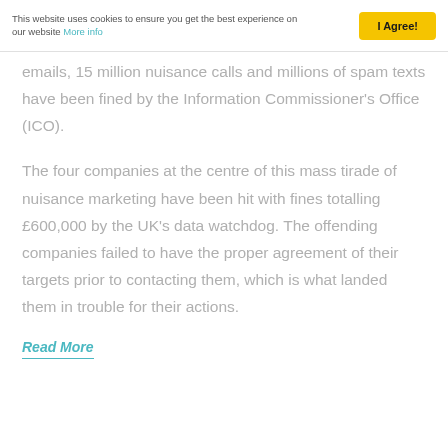This website uses cookies to ensure you get the best experience on our website More info | I Agree!
emails, 15 million nuisance calls and millions of spam texts have been fined by the Information Commissioner's Office (ICO).
The four companies at the centre of this mass tirade of nuisance marketing have been hit with fines totalling £600,000 by the UK's data watchdog. The offending companies failed to have the proper agreement of their targets prior to contacting them, which is what landed them in trouble for their actions.
Read More